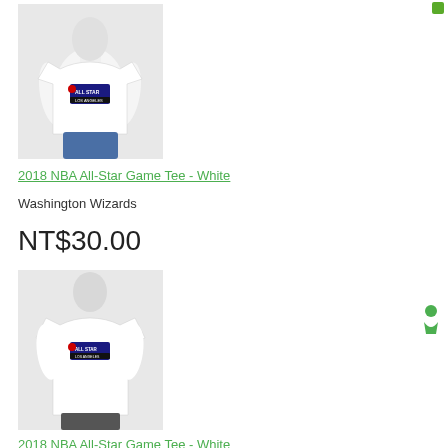[Figure (photo): White female mannequin torso wearing a white 2018 NBA All-Star Game tee shirt with NBA All-Star 2018 Los Angeles logo on chest, with blue jeans]
2018 NBA All-Star Game Tee - White
Washington Wizards
NT$30.00
[Figure (photo): White female mannequin torso wearing a white 2018 NBA All-Star Game tee shirt with NBA All-Star logo on chest, with dark pants]
2018 NBA All-Star Game Tee - White